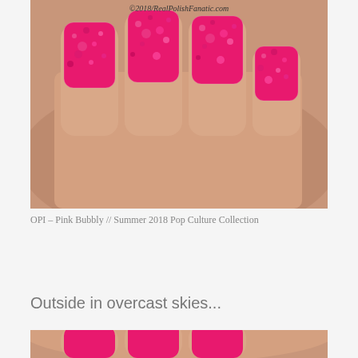[Figure (photo): Close-up photo of a hand with nails painted bright pink/magenta textured nail polish, watermark reads ©2018/RealPolishFanatic.com at the top]
OPI – Pink Bubbly // Summer 2018 Pop Culture Collection
Outside in overcast skies...
[Figure (photo): Partial close-up photo of a hand with bright pink nail polish, cropped at bottom of page]